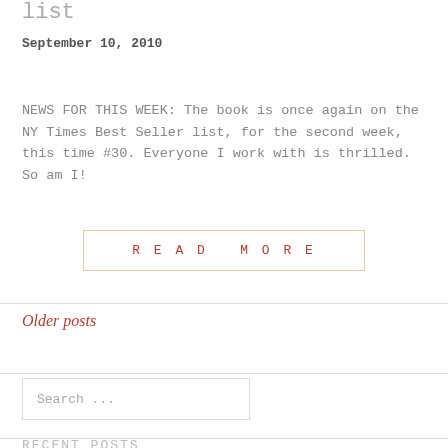list
September 10, 2010
NEWS FOR THIS WEEK: The book is once again on the NY Times Best Seller list, for the second week, this time #30. Everyone I work with is thrilled. So am I!
READ MORE
Older posts
Search ...
RECENT POSTS